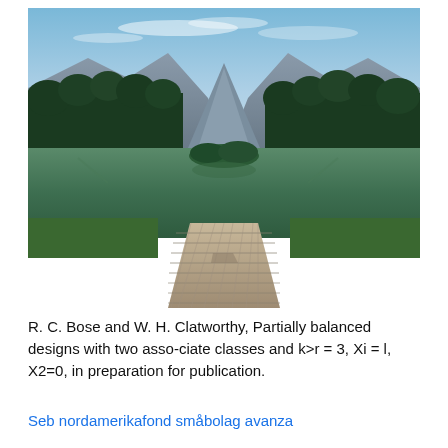[Figure (photo): A wooden dock/pier extending toward a calm green mountain lake, surrounded by dense coniferous forest with mountains and blue sky in the background.]
R. C. Bose and W. H. Clatworthy, Partially balanced designs with two asso-ciate classes and k>r = 3, Xi = l, X2=0, in preparation for publication.
Seb nordamerikafond småbolag avanza